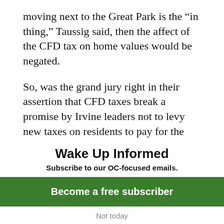moving next to the Great Park is the “in thing,” Taussig said, then the affect of the CFD tax on home values would be negated.
So, was the grand jury right in their assertion that CFD taxes break a promise by Irvine leaders not to levy new taxes on residents to pay for the park?
Taussig couldn’t confirm whether the CFD taxes qualify as a new tax, but he did say
Wake Up Informed
Subscribe to our OC-focused emails.
Become a free subscriber
Not today